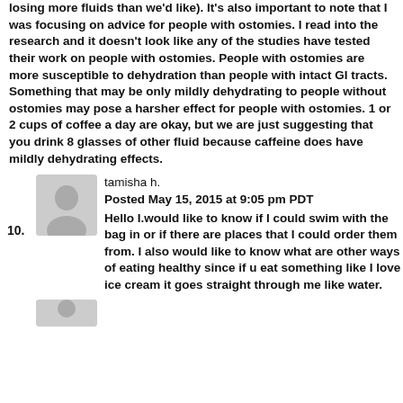losing more fluids than we'd like). It's also important to note that I was focusing on advice for people with ostomies. I read into the research and it doesn't look like any of the studies have tested their work on people with ostomies. People with ostomies are more susceptible to dehydration than people with intact GI tracts. Something that may be only mildly dehydrating to people without ostomies may pose a harsher effect for people with ostomies. 1 or 2 cups of coffee a day are okay, but we are just suggesting that you drink 8 glasses of other fluid because caffeine does have mildly dehydrating effects.
10. tamisha h. Posted May 15, 2015 at 9:05 pm PDT Hello I.would like to know if I could swim with the bag in or if there are places that I could order them from. I also would like to know what are other ways of eating healthy since if u eat something like I love ice cream it goes straight through me like water.
[Figure (illustration): Generic user avatar silhouette icon, light gray background]